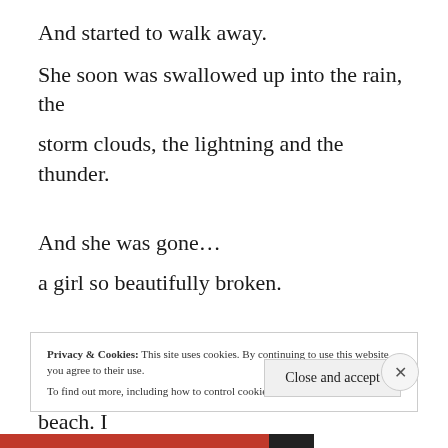And started to walk away.
She soon was swallowed up into the rain, the storm clouds, the lightning and the thunder.
And she was gone…
a girl so beautifully broken.
I saw a girl in the middle of a storm just yesterday–on my morning walk by the beach. I
Privacy & Cookies: This site uses cookies. By continuing to use this website, you agree to their use.
To find out more, including how to control cookies, see here: Cookie Policy
Close and accept